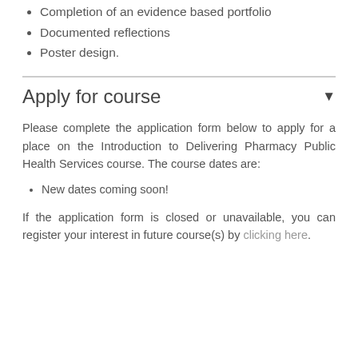Completion of an evidence based portfolio
Documented reflections
Poster design.
Apply for course
Please complete the application form below to apply for a place on the Introduction to Delivering Pharmacy Public Health Services course. The course dates are:
New dates coming soon!
If the application form is closed or unavailable, you can register your interest in future course(s) by clicking here.